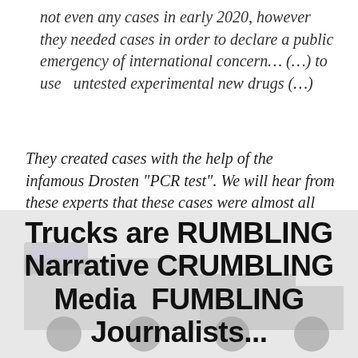not even any cases in early 2020, however they needed cases in order to declare a public emergency of international concern... (...) to use untested experimental new drugs (...)
They created cases with the help of the infamous Drosten “PCR test”. We will hear from these experts that these cases were almost all false positive, nothing else.
— 00:31:12 to 00:32:17 of Opening statements
[Figure (illustration): Background image of trucks with overlaid bold headline text reading: Trucks are RUMBLING / Narrative CRUMBLING / Media FUMBLING / Journalists...]
Trucks are RUMBLING
Narrative CRUMBLING
Media FUMBLING
Journalists...